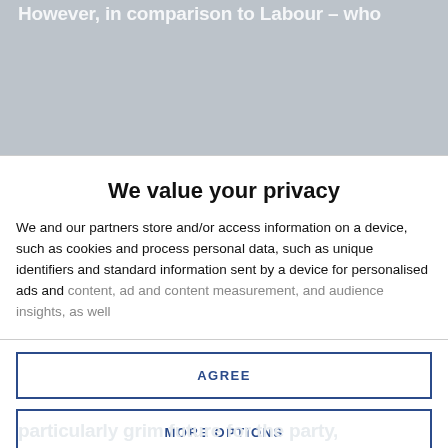However, in comparison to Labour – who
We value your privacy
We and our partners store and/or access information on a device, such as cookies and process personal data, such as unique identifiers and standard information sent by a device for personalised ads and content, ad and content measurement, and audience insights, as well
AGREE
MORE OPTIONS
particularly grim future for the party,